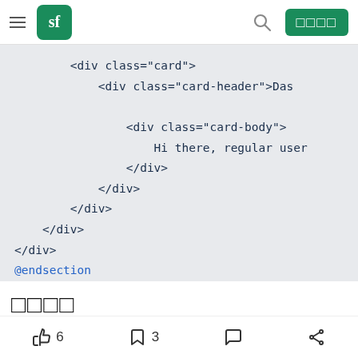sf navigation bar with hamburger menu, sf logo, search icon, and login button
<div class="card">
    <div class="card-header">Da

        <div class="card-body">
            Hi there, regular user
        </div>
    </div>
</div>
</div>
@endsection
□□□□
👍 6   🔖 3   💬   ↗